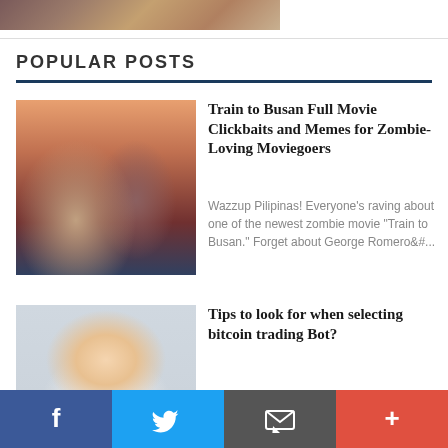[Figure (photo): Partial top image, cropped at top of page]
POPULAR POSTS
[Figure (photo): Movie scene thumbnail for Train to Busan]
Train to Busan Full Movie Clickbaits and Memes for Zombie-Loving Moviegoers
Wazzup Pilipinas! Everyone's raving about one of the newest zombie movie "Train to Busan." Forget about George Romero&#...
[Figure (photo): Woman smiling thumbnail for bitcoin trading bot article]
Tips to look for when selecting bitcoin trading Bot?
Wazzup Pilipinas! The cryptocurrency market has become as mainstream and each dealer needs to make it greater than bitcoin exchanging. In an...
Facebook | Twitter | Email | More